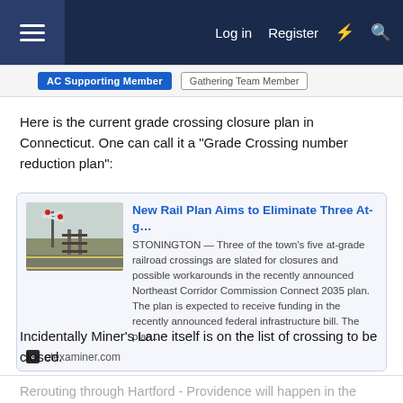Log in  Register
AC Supporting Member   Gathering Team Member
Here is the current grade crossing closure plan in Connecticut. One can call it a "Grade Crossing number reduction plan":
[Figure (screenshot): Link preview card for article 'New Rail Plan Aims to Eliminate Three At-g...' from ctexaminer.com. Shows a thumbnail of a railroad crossing and text: STONINGTON — Three of the town's five at-grade railroad crossings are slated for closures and possible workarounds in the recently announced Northeast Corridor Commission Connect 2035 plan. The plan is expected to receive funding in the recently announced federal infrastructure bill. The plan...]
Incidentally Miner's Lane itself is on the list of crossing to be closed.
Rerouting through Hartford - Providence will happen in the